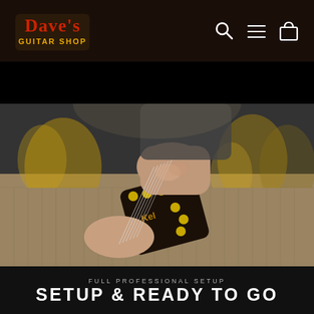[Figure (logo): Dave's Guitar Shop logo — red stylized text 'Dave's' with yellow 'GUITAR SHOP' on dark background]
[Figure (photo): Close-up of technician's hands tuning/stringing a Keller guitar headstock on a workbench in a guitar shop, blurred guitar bodies visible in background]
FULL PROFESSIONAL SETUP
SETUP & READY TO GO